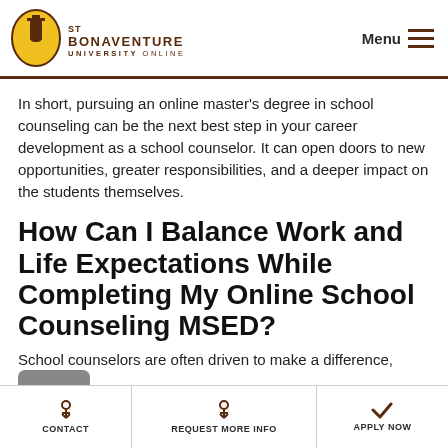ST BONAVENTURE UNIVERSITY ONLINE | Menu
In short, pursuing an online master’s degree in school counseling can be the next best step in your career development as a school counselor. It can open doors to new opportunities, greater responsibilities, and a deeper impact on the students themselves.
How Can I Balance Work and Life Expectations While Completing My Online School Counseling MSED?
School counselors are often driven to make a difference,
CONTACT | REQUEST MORE INFO | APPLY NOW